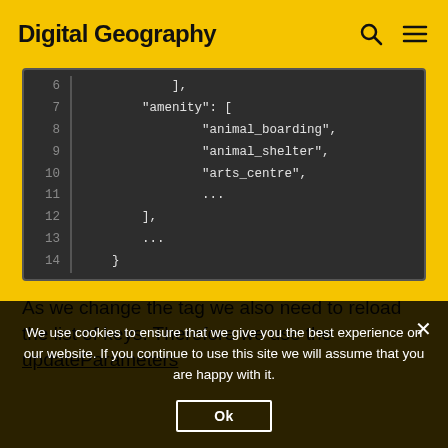Digital Geography
[Figure (screenshot): Code block showing JSON-like data structure with line numbers 6-14. Lines show: 6: ],  7: "amenity": [  8: "animal_boarding",  9: "animal_shelter",  10: "arts_centre",  11: ...  12: ],  13: ...  14: }]
As we change the tag we also need to reload the list of keys. Therefore we use the updateParameters
We use cookies to ensure that we give you the best experience on our website. If you continue to use this site we will assume that you are happy with it.
Ok